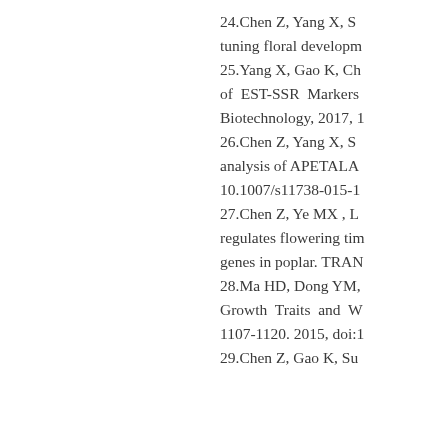24.Chen Z, Yang X, S… tuning floral developm…
25.Yang X, Gao K, Ch… of EST-SSR Markers… Biotechnology, 2017, 1…
26.Chen Z, Yang X, S… analysis of APETALA… 10.1007/s11738-015-1…
27.Chen Z, Ye MX , L… regulates flowering tim… genes in poplar. TRAN…
28.Ma HD, Dong YM,… Growth Traits and W… 1107-1120. 2015, doi:1…
29.Chen Z, Gao K, Su…